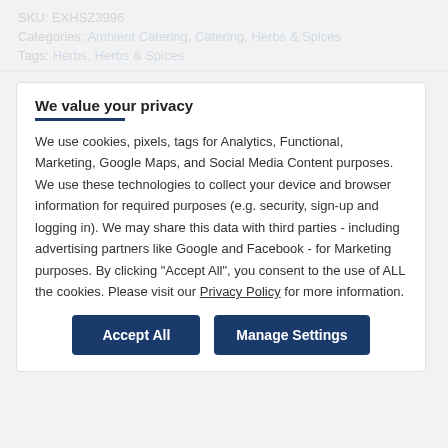SKU: EXHSZ3996
Categories: Ambient Catering, Catering, Herbs & Spices
Tags: Herbs, Herbs & Spices
We value your privacy
We use cookies, pixels, tags for Analytics, Functional, Marketing, Google Maps, and Social Media Content purposes. We use these technologies to collect your device and browser information for required purposes (e.g. security, sign-up and logging in). We may share this data with third parties - including advertising partners like Google and Facebook - for Marketing purposes. By clicking "Accept All", you consent to the use of ALL the cookies. Please visit our Privacy Policy for more information.
Accept All | Manage Settings